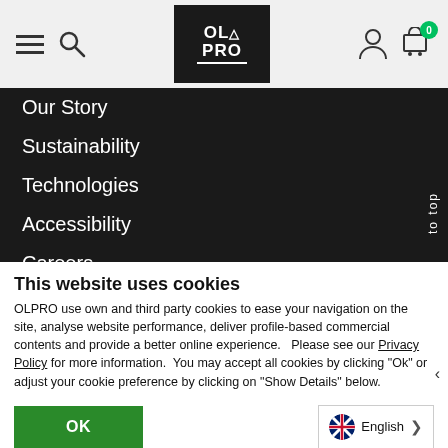[Figure (screenshot): OLPRO website header with hamburger menu, search icon, OLPRO logo, user icon, and cart with badge 0]
Our Story
Sustainability
Technologies
Accessibility
Careers
The OLPRO Way
Experts Forum
This website uses cookies
OLPRO use own and third party cookies to ease your navigation on the site, analyse website performance, deliver profile-based commercial contents and provide a better online experience.   Please see our Privacy Policy for more information.  You may accept all cookies by clicking "Ok" or adjust your cookie preference by clicking on "Show Details" below.
OK
English